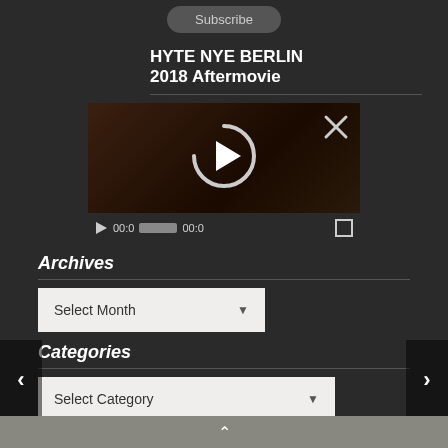Subscribe
HYTE NYE BERLIN 2018 Aftermovie
[Figure (screenshot): Video player showing a dark brownish video thumbnail with a large circular play button overlay and an X close button. Below the thumbnail is a video controls bar with a play button, time display '00:0', a progress bar, time '00:0', and a fullscreen button.]
Archives
Select Month
Categories
Select Category
Translate